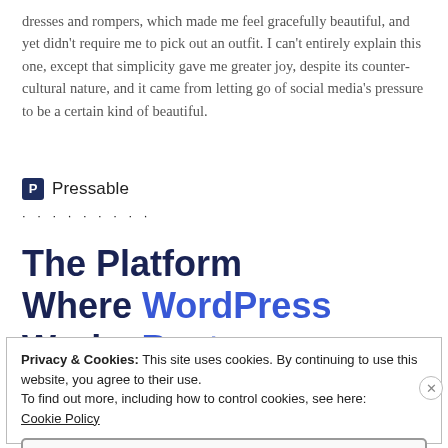dresses and rompers, which made me feel gracefully beautiful, and yet didn't require me to pick out an outfit. I can't entirely explain this one, except that simplicity gave me greater joy, despite its counter-cultural nature, and it came from letting go of social media's pressure to be a certain kind of beautiful.
[Figure (logo): Pressable logo: a dark navy square icon with letter P followed by the word Pressable in sans-serif text, with a row of dots below]
The Platform Where WordPress Works Best
Privacy & Cookies: This site uses cookies. By continuing to use this website, you agree to their use.
To find out more, including how to control cookies, see here: Cookie Policy
Close and accept